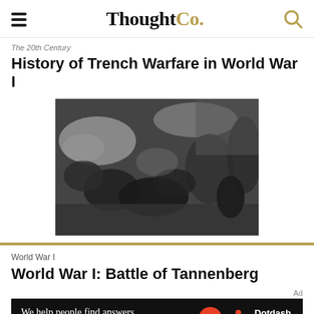ThoughtCo.
The 20th Century
History of Trench Warfare in World War I
[Figure (photo): Black and white photograph of soldiers resting/sheltering in a trench during World War I]
World War I
World War I: Battle of Tannenberg
Ad
[Figure (other): Dotdash Meredith advertisement banner: We help people find answers, solve problems and get inspired.]